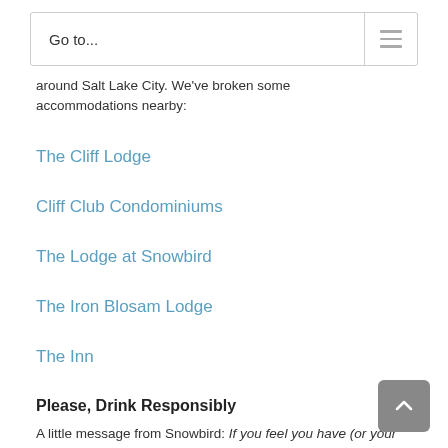Go to...
around Salt Lake City. We've broken some accommodations nearby:
The Cliff Lodge
Cliff Club Condominiums
The Lodge at Snowbird
The Iron Blosam Lodge
The Inn
Please, Drink Responsibly
A little message from Snowbird: If you feel you have (or your companion has) had too much to drink, please don't drive. Contact a Snowbird employee and he or she will arrange a ride